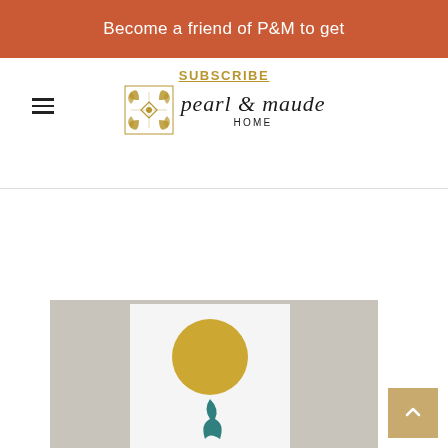Become a friend of P&M to get
SUBSCRIBE
[Figure (logo): Pearl & Maude Home logo with decorative emblem and script text]
[Figure (photo): Product photo showing a tall poster print with gold circle and teal decorative motif against a grey background]